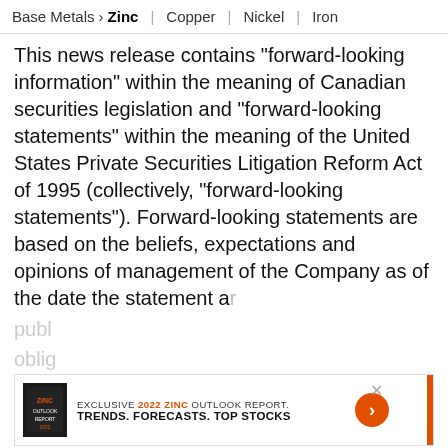Base Metals > Zinc | Copper | Nickel | Iron
This news release contains "forward-looking information" within the meaning of Canadian securities legislation and "forward-looking statements" within the meaning of the United States Private Securities Litigation Reform Act of 1995 (collectively, "forward-looking statements"). Forward-looking statements are based on the beliefs, expectations and opinions of management of the Company as of the date the statement a... publ... oblig... statement, except as required by law. In certain
[Figure (other): Advertisement banner: EXCLUSIVE 2022 ZINC OUTLOOK REPORT. TRENDS. FORECASTS. TOP STOCKS. with orange arrow button and orange vertical bar. Close (x) button visible.]
Investing News Network websites or approved third-party tools use cookies. Please refer to the cookie policy for collected data, privacy and GDPR compliance. By continuing to browse the site, you agree to our use of cookies.